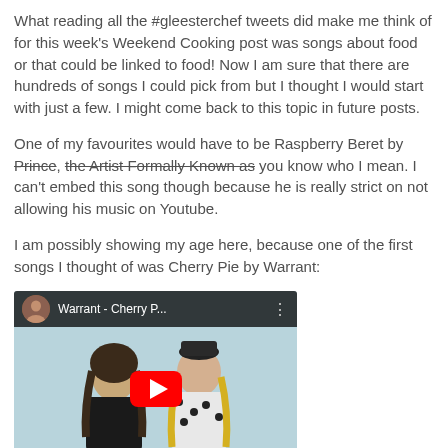What reading all the #gleesterchef tweets did make me think of for this week's Weekend Cooking post was songs about food or that could be linked to food! Now I am sure that there are hundreds of songs I could pick from but I thought I would start with just a few. I might come back to this topic in future posts.
One of my favourites would have to be Raspberry Beret by Prince, the Artist Formally Known as you know who I mean. I can't embed this song though because he is really strict on not allowing his music on Youtube.
I am possibly showing my age here, because one of the first songs I thought of was Cherry Pie by Warrant:
[Figure (screenshot): YouTube embedded video thumbnail showing Warrant - Cherry P... with two people visible and a red play button overlay]